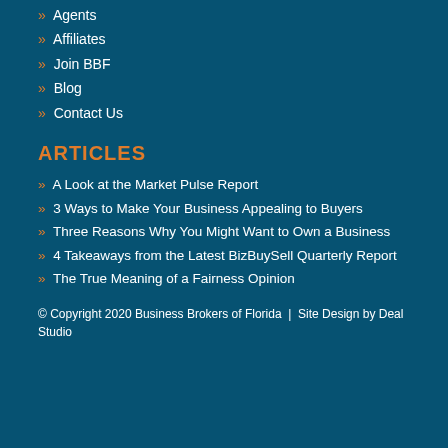» Agents
» Affiliates
» Join BBF
» Blog
» Contact Us
ARTICLES
» A Look at the Market Pulse Report
» 3 Ways to Make Your Business Appealing to Buyers
» Three Reasons Why You Might Want to Own a Business
» 4 Takeaways from the Latest BizBuySell Quarterly Report
» The True Meaning of a Fairness Opinion
© Copyright 2020 Business Brokers of Florida  |  Site Design by Deal Studio